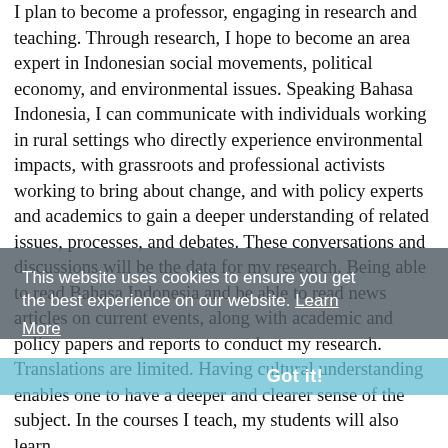I plan to become a professor, engaging in research and teaching. Through research, I hope to become an area expert in Indonesian social movements, political economy, and environmental issues. Speaking Bahasa Indonesia, I can communicate with individuals working in rural settings who directly experience environmental impacts, with grassroots and professional activists working to bring about change, and with policy experts and academics to gain a deeper understanding of related issues, processes, and debates. These conversations and discussions will be the data for my research. Being able to read Bahasa Indonesia and be able to read news articles on current events, along with academic and policy papers and reports to conduct my research. Translations are limited. Having cultural understanding enables one to have a deeper and clearer sense of the subject. In the courses I teach, my students will also learn
This website uses cookies to ensure you get the best experience on our website. Learn More
Got it!